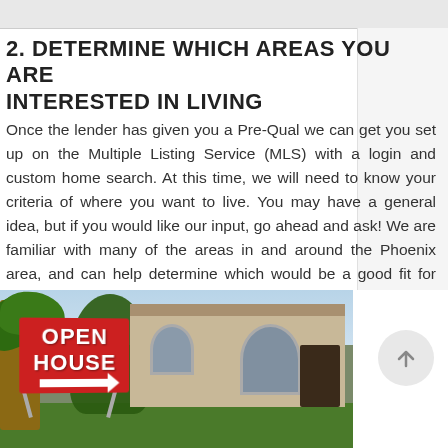[Figure (photo): Partial top strip showing cropped images from previous page section]
2. DETERMINE WHICH AREAS YOU ARE INTERESTED IN LIVING
Once the lender has given you a Pre-Qual we can get you set up on the Multiple Listing Service (MLS) with a login and custom home search. At this time, we will need to know your criteria of where you want to live. You may have a general idea, but if you would like our input, go ahead and ask! We are familiar with many of the areas in and around the Phoenix area, and can help determine which would be a good fit for you!
[Figure (photo): Photo of a Southwest-style home with a red Open House sign in the foreground, palm trees and green lawn visible]